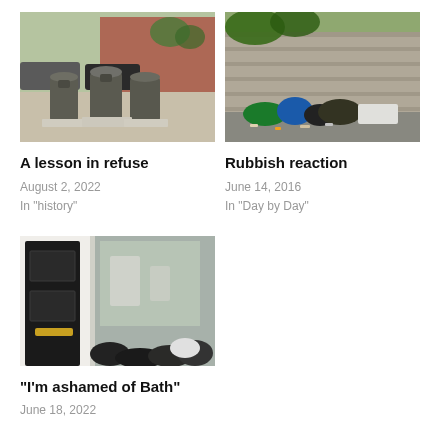[Figure (photo): Outdoor street scene with large cylindrical metal underground waste containers on a cobblestone area, cars and brick buildings in background]
A lesson in refuse
August 2, 2022
In "history"
[Figure (photo): Rubbish and waste bags piled on a street pavement against a stone wall, blue and black bags visible]
Rubbish reaction
June 14, 2016
In "Day by Day"
[Figure (photo): Black rubbish bags piled outside a building entrance with a dark door and glass shopfront]
“I’m ashamed of Bath”
June 18, 2022